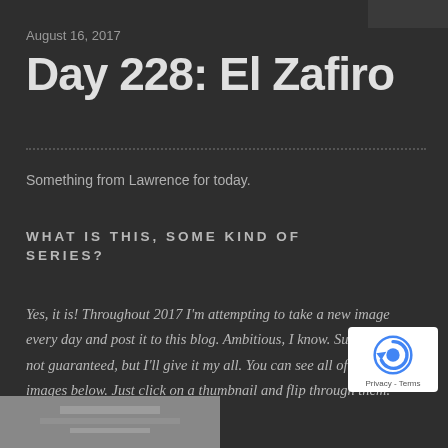August 16, 2017
Day 228: El Zafiro
Something from Lawrence for today.
WHAT IS THIS, SOME KIND OF SERIES?
Yes, it is! Throughout 2017 I'm attempting to take a new image every day and post it to this blog. Ambitious, I know. Success is not guaranteed, but I'll give it my all. You can see all of the images below. Just click on a thumbnail and flip through them.
[Figure (photo): Bottom portion showing a black and white photograph partially visible at the bottom of the page]
[Figure (logo): reCAPTCHA badge with circular arrow icon and Privacy - Terms text]